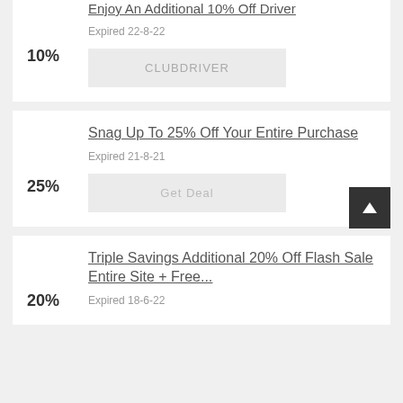Enjoy An Additional 10% Off Driver
10%
Expired 22-8-22
CLUBDRIVER
Snag Up To 25% Off Your Entire Purchase
25%
Expired 21-8-21
Get Deal
Triple Savings Additional 20% Off Flash Sale Entire Site + Free...
20%
Expired 18-6-22